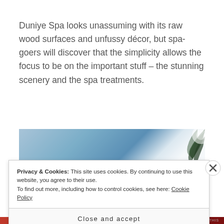Duniye Spa looks unassuming with its raw wood surfaces and unfussy décor, but spa-goers will discover that the simplicity allows the focus to be on the important stuff – the stunning scenery and the spa treatments.
[Figure (photo): Partial view of a bright sky with blue gradient and palm tree fronds visible in the top right corner]
Privacy & Cookies: This site uses cookies. By continuing to use this website, you agree to their use.
To find out more, including how to control cookies, see here: Cookie Policy
Close and accept